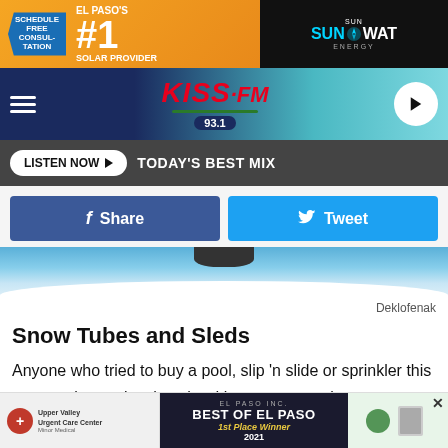[Figure (other): Orange and dark advertisement banner: El Paso's #1 Solar Provider with SunSwat Energy logo]
[Figure (other): KISS FM 93.1 radio station navigation bar with hamburger menu and play button]
[Figure (other): Listen Now button bar with TODAY'S BEST MIX text]
[Figure (other): Facebook Share and Twitter Tweet social share buttons]
[Figure (photo): Hero image showing a snow sled or tube on snowy background]
Deklofenak
Snow Tubes and Sleds
Anyone who tried to buy a pool, slip 'n slide or sprinkler this summer knows just how hard it was to come by any outdoor items. You can expect the same issues this winter thanks to supply chain problems and increased demand for snow
[Figure (other): Bottom advertisement for Upper Valley Urgent Care Center and Best of El Paso 2021]